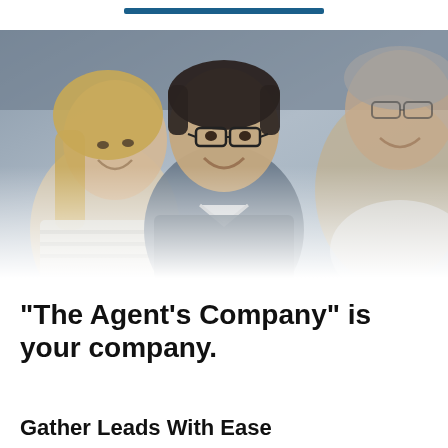[Figure (photo): Three business professionals laughing and smiling together in an office setting. A woman with blonde hair on the left, a man with glasses and dark hair in the center, and an older man with glasses on the right. Photo fades to white at the bottom.]
"The Agent's Company" is your company.
Gather Leads With Ease